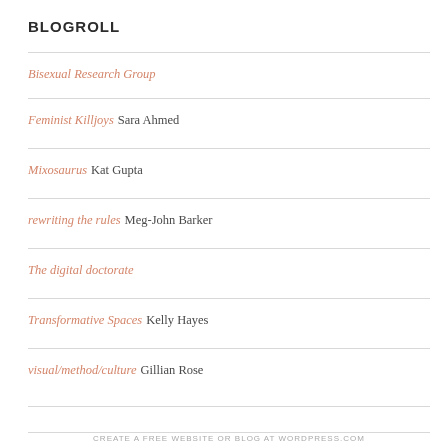BLOGROLL
Bisexual Research Group
Feminist Killjoys Sara Ahmed
Mixosaurus Kat Gupta
rewriting the rules Meg-John Barker
The digital doctorate
Transformative Spaces Kelly Hayes
visual/method/culture Gillian Rose
CREATE A FREE WEBSITE OR BLOG AT WORDPRESS.COM